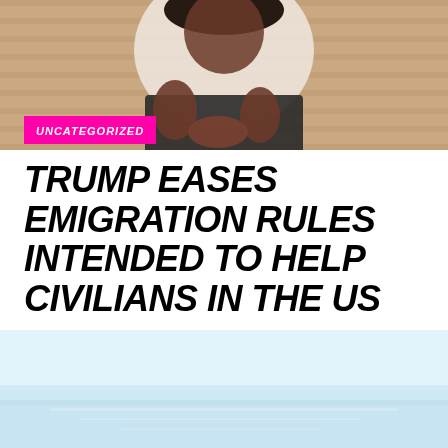[Figure (photo): A person (woman) sitting with hands clasped, wearing a white top and dark skirt, photographed from mid-torso. Background shows wooden blinds/slats. A magenta 'UNCATEGORIZED' label overlays the lower-left of the image.]
UNCATEGORIZED
TRUMP EASES EMIGRATION RULES INTENDED TO HELP CIVILIANS IN THE US
[Figure (photo): A light blue sky and sea/water scene, very pale and washed out, forming the background of the lower portion of the page.]